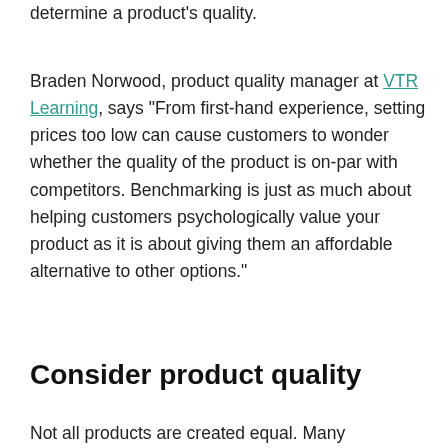determine a product's quality.
Braden Norwood, product quality manager at VTR Learning, says “From first-hand experience, setting prices too low can cause customers to wonder whether the quality of the product is on-par with competitors. Benchmarking is just as much about helping customers psychologically value your product as it is about giving them an affordable alternative to other options.”
Consider product quality
Not all products are created equal. Many